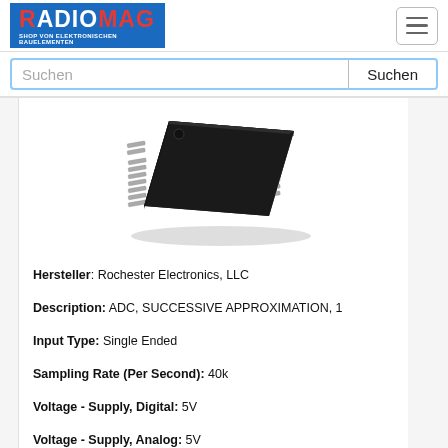[Figure (logo): Radiomag logo — blue background with RADIOMAG text in red/white and tagline SHOP VON ELEKTRONISCHEN BAUELEMENTEN]
Suchen
[Figure (illustration): IC chip in SOIC-28 package, black body with silver pins on both sides, shown in isometric perspective]
Hersteller: Rochester Electronics, LLC
Description: ADC, SUCCESSIVE APPROXIMATION, 1
Input Type: Single Ended
Sampling Rate (Per Second): 40k
Voltage - Supply, Digital: 5V
Voltage - Supply, Analog: 5V
Operating Temperature: -40°C ~ 85°C
Reference Type: External, Internal
Number of A/D Converters: 1
Part Status: Obsolete
Ratio - S/H:ADC: 1:1